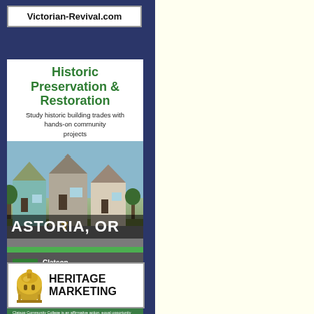[Figure (other): Victorian-Revival.com advertisement box with bold text link]
[Figure (infographic): Clatsop Community College advertisement for Historic Preservation & Restoration program in Astoria, OR. Shows Victorian houses photograph, green and gray branding, college logo, website URL, and legal text in English and Spanish.]
[Figure (other): Heritage Marketing advertisement box showing a gold dome illustration and large bold HERITAGE MARKETING text]